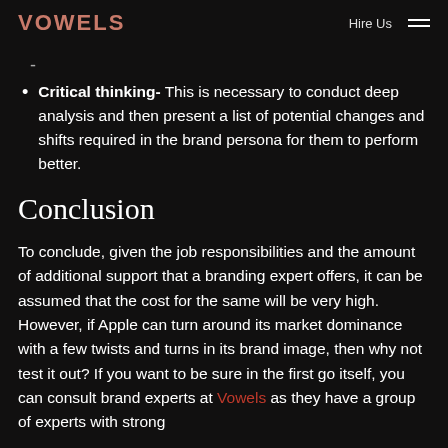VOWELS   Hire Us  ☰
Critical thinking- This is necessary to conduct deep analysis and then present a list of potential changes and shifts required in the brand persona for them to perform better.
Conclusion
To conclude, given the job responsibilities and the amount of additional support that a branding expert offers, it can be assumed that the cost for the same will be very high. However, if Apple can turn around its market dominance with a few twists and turns in its brand image, then why not test it out? If you want to be sure in the first go itself, you can consult brand experts at Vowels as they have a group of experts with strong